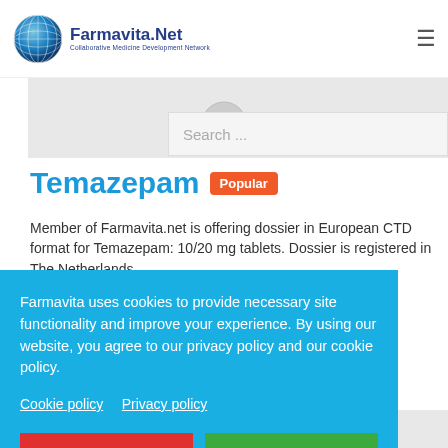Farmavita.Net — Collaborative Medicine Development Network
Temazepam Popular
Member of Farmavita.net is offering dossier in European CTD format for Temazepam: 10/20 mg tablets. Dossier is registered in The Netherlands. ... bulk purchase... Offer is valid subject to confirmation, country by country. Development of this pharmaceutical is carried out according to...
Farmavita uses cookies to provide necessary site functionality and improve your experience. By using our website, you agree to our privacy policy and our cookie policy.
Cookie policy   Privacy policy
[Decline] [Allow cookies]